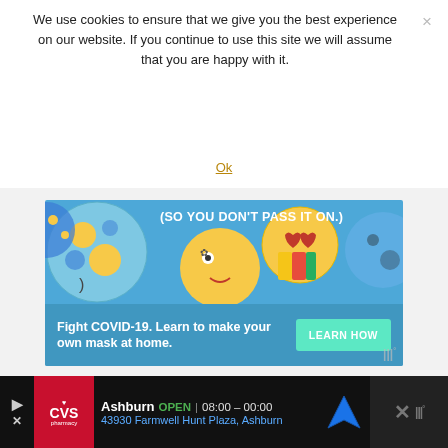We use cookies to ensure that we give you the best experience on our website. If you continue to use this site we will assume that you are happy with it.
Ok
[Figure (illustration): Advertisement banner for COVID-19 awareness. Blue background with emoji face balls. Text reads '(SO YOU DON'T PASS IT ON.)' and 'Fight COVID-19. Learn to make your own mask at home.' with a 'LEARN HOW' button.]
This mindset also works well for other areas of your life.
[Figure (screenshot): CVS Pharmacy advertisement bar showing Ashburn location. Text: Ashburn OPEN 08:00 – 00:00, 43930 Farmwell Hunt Plaza, Ashburn]